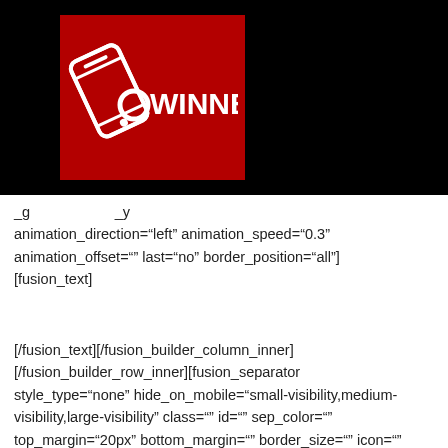[Figure (logo): Winner app logo: red square background with white smartphone icon and the text OWINNER in white bold letters]
_g _y animation_direction="left" animation_speed="0.3" animation_offset="" last="no" border_position="all"] [fusion_text]
[/fusion_text][/fusion_builder_column_inner] [/fusion_builder_row_inner][fusion_separator style_type="none" hide_on_mobile="small-visibility,medium-visibility,large-visibility" class="" id="" sep_color="" top_margin="20px" bottom_margin="" border_size="" icon="" icon_circle="" icon_circle_color="" width=""